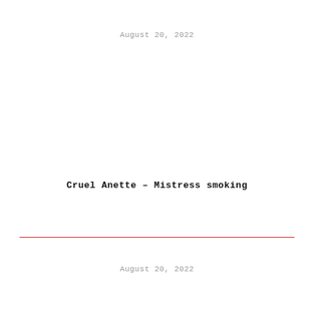August 20, 2022
Cruel Anette – Mistress smoking
August 20, 2022